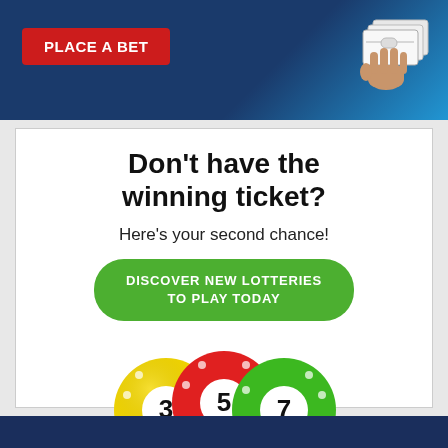[Figure (illustration): Top banner with dark blue and light blue background, red 'PLACE A BET' button on left, hand holding money/tickets on right]
Don't have the winning ticket?
Here's your second chance!
DISCOVER NEW LOTTERIES TO PLAY TODAY
[Figure (illustration): Three lottery balls: yellow ball with number 3, red ball with number 5 in center, green ball with number 7]
[Figure (illustration): Dark navy blue footer bar at bottom of page]